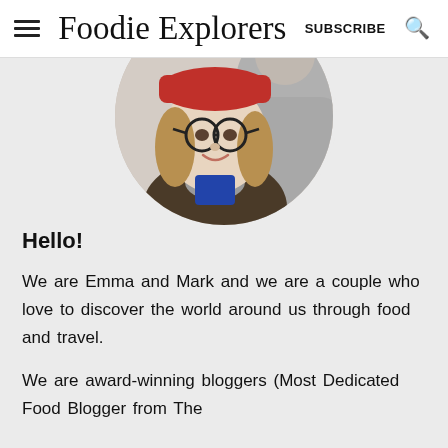Foodie Explorers   SUBSCRIBE
[Figure (photo): Circular cropped profile photo of a woman wearing glasses and a red hat, smiling, with another person visible in the background wearing a grey scarf.]
Hello!
We are Emma and Mark and we are a couple who love to discover the world around us through food and travel.
We are award-winning bloggers (Most Dedicated Food Blogger from The